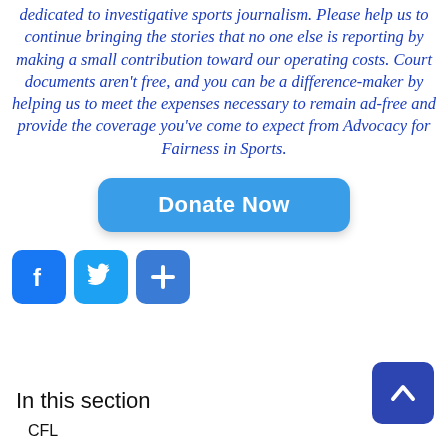dedicated to investigative sports journalism. Please help us to continue bringing the stories that no one else is reporting by making a small contribution toward our operating costs. Court documents aren't free, and you can be a difference-maker by helping us to meet the expenses necessary to remain ad-free and provide the coverage you've come to expect from Advocacy for Fairness in Sports.
[Figure (other): Donate Now button — a large rounded blue button with white bold text 'Donate Now']
[Figure (other): Social share icons: Facebook (f), Twitter (bird), and a plus/share button, all as blue rounded squares]
In this section
[Figure (other): Back-to-top button: dark blue rounded square with upward chevron arrow]
CFL